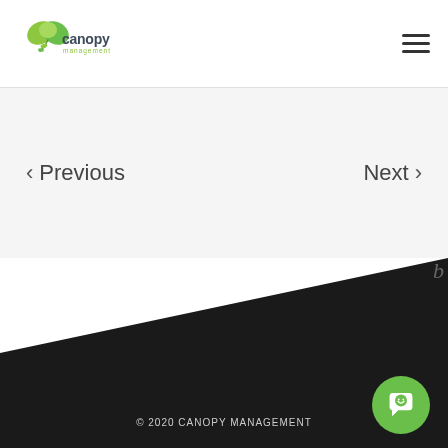[Figure (logo): Canopy Management logo with green leaf umbrella icon and company name in dark grey with 'management' in green below]
Navigation menu hamburger icon
< Previous
Next >
b
© 2020 CANOPY MANAGEMENT